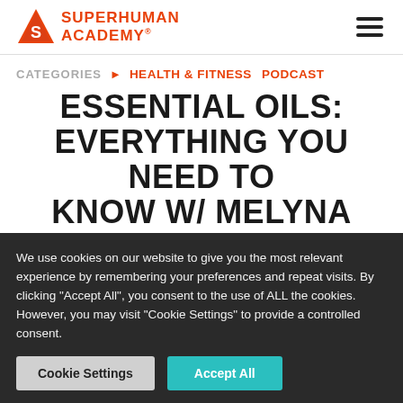SUPERHUMAN ACADEMY
CATEGORIES  ▶  HEALTH & FITNESS  PODCAST
ESSENTIAL OILS: EVERYTHING YOU NEED TO KNOW W/ MELYNA HARRISON
We use cookies on our website to give you the most relevant experience by remembering your preferences and repeat visits. By clicking "Accept All", you consent to the use of ALL the cookies. However, you may visit "Cookie Settings" to provide a controlled consent.
Cookie Settings  |  Accept All